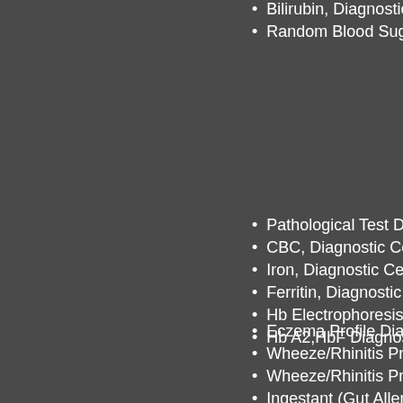Bilirubin, Diagnostic Cent
Random Blood Sugar. Di
Pathological Test Diagno
CBC, Diagnostic Centre i
Iron, Diagnostic Centre in
Ferritin, Diagnostic Centr
Hb Electrophoresis, Diag
Hb A2,HbF Diagnostic Ca
Eczema Profile Diagnost
Wheeze/Rhinitis Profile (
Wheeze/Rhinitis Profile (
Ingestant (Gut Allergy) P